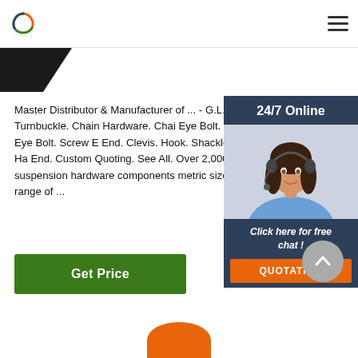G.L. H [logo and navigation header]
[Figure (photo): Dark triangular image strip in upper left corner]
Master Distributor & Manufacturer of ... - G.L. H Nut Eye Bolt. Turnbuckle. Chain Hardware. Chai Eye Bolt. Lifting Eye Nut. Lifting Eye Bolt. Screw E End. Clevis. Hook. Shackle. Swivel. Wire Rope Ha End. Custom Quoting. See All. Over 2,000 high-q rigging, and suspension hardware components metric sizes for use in a broad range of ...
[Figure (photo): 24/7 Online chat widget with a smiling woman wearing a headset, dark blue background, with 'Click here for free chat!' text and orange QUOTATION button]
[Figure (other): Green 'Get Price' button]
[Figure (other): Grey circular back-to-top arrow button]
[Figure (other): Partial orange circular/arc image at bottom center]